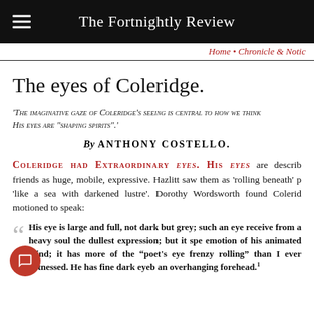The Fortnightly Review
Home • Chronicle & Notic
The eyes of Coleridge.
'The imaginative gaze of Coleridge's seeing is central to how we think. His eyes are "shaping spirits".'
By ANTHONY COSTELLO.
COLERIDGE HAD EXTRAORDINARY eyes. His eyes are described by friends as huge, mobile, expressive. Hazlitt saw them as 'rolling beneath' p 'like a sea with darkened lustre'. Dorothy Wordsworth found Colerid motioned to speak:
His eye is large and full, not dark but grey; such an eye as would receive from a heavy soul the dullest expression; but it spe emotion of his animated mind; it has more of the "poet's eye in frenzy rolling" than I ever witnessed. He has fine dark eyeb an overhanging forehead.1